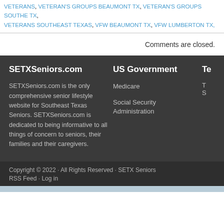VETERANS, VETERAN'S GROUPS BEAUMONT TX, VETERAN'S GROUPS SOUTH TX, VETERANS SOUTHEAST TEXAS, VFW BEAUMONT TX, VFW LUMBERTON TX,
Comments are closed.
SETXSeniors.com
SETXSeniors.com is the only comprehensive senior lifestyle website for Southeast Texas Seniors. SETXSeniors.com is dedicated to being informative to all things of concern to seniors, their families and their caregivers.
US Government
Medicare
Social Security Administration
Te
Copyright © 2022 · All Rights Reserved · SETX Seniors
RSS Feed · Log in